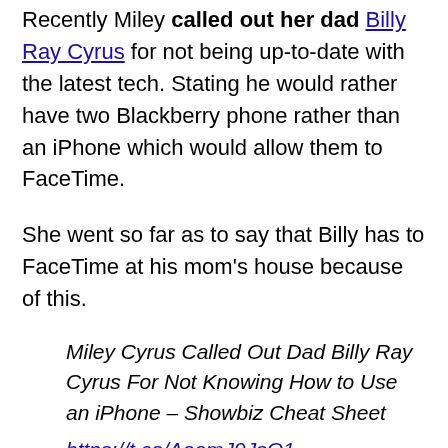Recently Miley called out her dad Billy Ray Cyrus for not being up-to-date with the latest tech. Stating he would rather have two Blackberry phone rather than an iPhone which would allow them to FaceTime.
She went so far as to say that Billy has to FaceTime at his mom's house because of this.
Miley Cyrus Called Out Dad Billy Ray Cyrus For Not Knowing How to Use an iPhone – Showbiz Cheat Sheet
https://t.co/AoamJ9JsO1